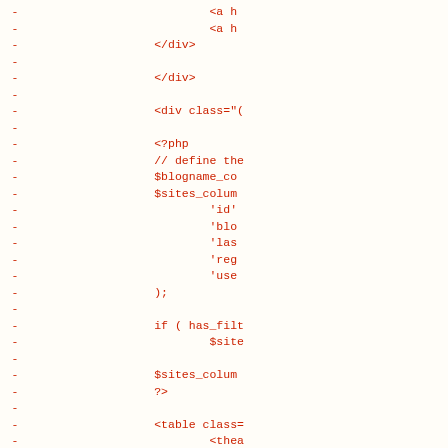Code diff showing PHP and HTML snippet with minus signs indicating removed lines. Lines include: <a h, <a h, </div>, </div>, <div class="(", <?php, // define the, $blogname_co, $sites_colum, 'id', 'blo, 'las, 'reg, 'use, );, if ( has_filt, $site, $sites_colum, ?>, <table class=, <the, and several empty minus lines.